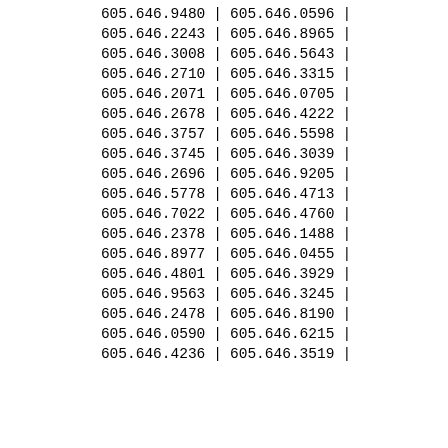| Col1 | Sep | Col2 | Sep2 |
| --- | --- | --- | --- |
| 605.646.9480 | | | 605.646.0596 | | |
| 605.646.2243 | | | 605.646.8965 | | |
| 605.646.3008 | | | 605.646.5643 | | |
| 605.646.2710 | | | 605.646.3315 | | |
| 605.646.2071 | | | 605.646.0705 | | |
| 605.646.2678 | | | 605.646.4222 | | |
| 605.646.3757 | | | 605.646.5598 | | |
| 605.646.3745 | | | 605.646.3039 | | |
| 605.646.2696 | | | 605.646.9205 | | |
| 605.646.5778 | | | 605.646.4713 | | |
| 605.646.7022 | | | 605.646.4760 | | |
| 605.646.2378 | | | 605.646.1488 | | |
| 605.646.8977 | | | 605.646.0455 | | |
| 605.646.4801 | | | 605.646.3929 | | |
| 605.646.9563 | | | 605.646.3245 | | |
| 605.646.2478 | | | 605.646.8190 | | |
| 605.646.0590 | | | 605.646.6215 | | |
| 605.646.4236 | | | 605.646.3519 | | |